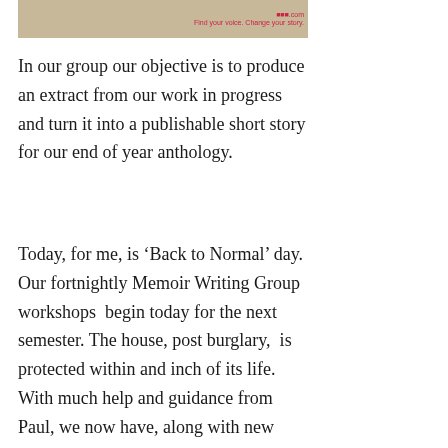[Figure (photo): Top portion of a photo showing a blurred brownish object on the left and a logo/text on the right side reading website branding]
In our group our objective is to produce an extract from our work in progress and turn it into a publishable short story for our end of year anthology.
Today, for me, is ‘Back to Normal’ day. Our fortnightly Memoir Writing Group workshops  begin today for the next semester. The house, post burglary,  is protected within and inch of its life. With much help and guidance from Paul, we now have, along with new deadlocks, ‘Ring’ Video doorbells that chime when someone is at any of our doors and takes a video which is stored in The Cloud. We are locked up tighter than Fort Knox. I know, it’s a bit like closing the stable door after the horse has bolted, but it feels like we have done the